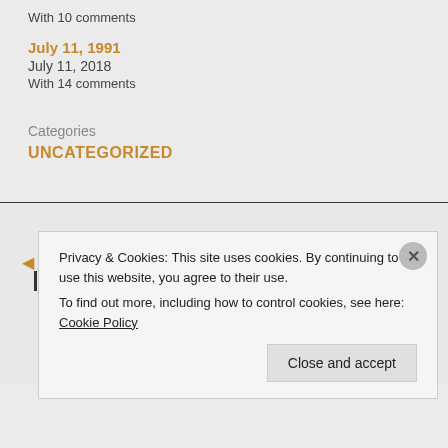With 10 comments
July 11, 1991
July 11, 2018
With 14 comments
Categories
UNCATEGORIZED
Privacy & Cookies: This site uses cookies. By continuing to use this website, you agree to their use.
To find out more, including how to control cookies, see here: Cookie Policy
Close and accept